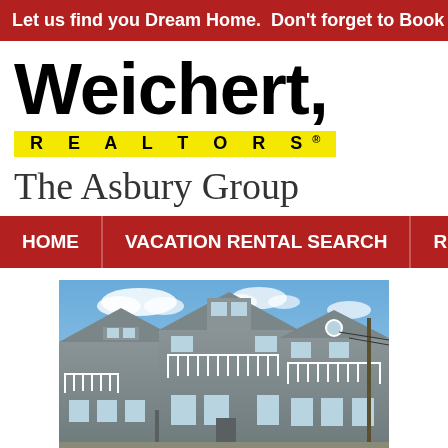Let us find you Dream Home. Don't forget to Book Mark
[Figure (logo): Weichert Realtors The Asbury Group logo — large black Weichert text, yellow REALTORS bar, gray The Asbury Group subtitle]
HOME   VACATION RENTAL SEARCH   RENT W
[Figure (photo): Photograph of beachside/coastal residential houses with gray siding and white trim, blue sky with clouds in the background]